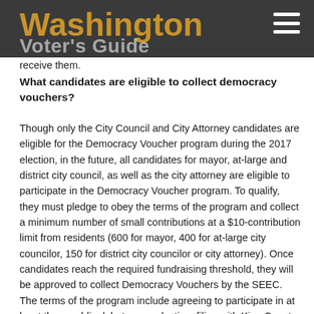Washington
Voter's Guide
receive them.
What candidates are eligible to collect democracy vouchers?
Though only the City Council and City Attorney candidates are eligible for the Democracy Voucher program during the 2017 election, in the future, all candidates for mayor, at-large and district city council, as well as the city attorney are eligible to participate in the Democracy Voucher program. To qualify, they must pledge to obey the terms of the program and collect a minimum number of small contributions at a $10-contribution limit from residents (600 for mayor, 400 for at-large city councilor, 150 for district city councilor or city attorney). Once candidates reach the required fundraising threshold, they will be approved to collect Democracy Vouchers by the SEEC. The terms of the program include agreeing to participate in at least three public debates per election, filing with King County